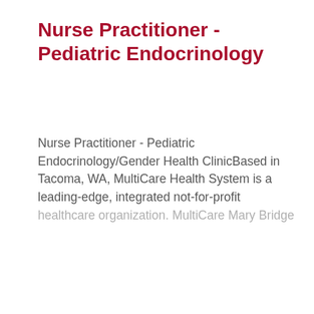Nurse Practitioner - Pediatric Endocrinology
Nurse Practitioner - Pediatric Endocrinology/Gender Health ClinicBased in Tacoma, WA, MultiCare Health System is a leading-edge, integrated not-for-profit healthcare organization. MultiCare Mary Bridge
This job listing is no longer active.
Cookie Settings  Got it
We use cookies so that we can remember you and understand how you use our site. If you do not agree with our use of cookies, please change the current settings found in our Cookie Policy. Otherwise, you agree to the use of the cookies as they are currently set.